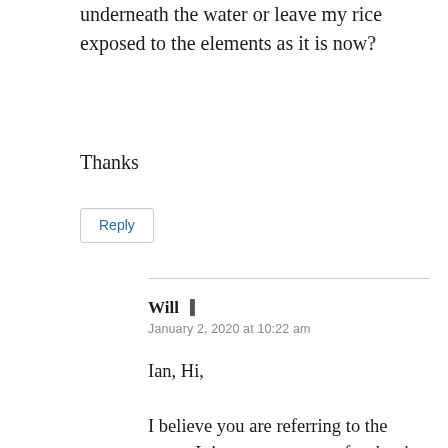underneath the water or leave my rice exposed to the elements as it is now?
Thanks
Reply
Will
January 2, 2020 at 10:22 am
Ian, Hi,
I believe you are referring to the moto. It is not uncommon for the rice to absorb all of the liquid in the batch before the